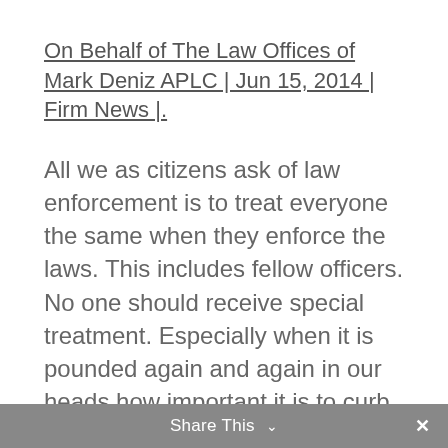On Behalf of The Law Offices of Mark Deniz APLC | Jun 15, 2014 | Firm News |.
All we as citizens ask of law enforcement is to treat everyone the same when they enforce the laws.  This includes fellow officers.  No one should receive special treatment.  Especially when it is pounded again and again in our heads how important it is to curb crime.  These officers clearly are not professional and should not be on the streets.  Call balls and strikes evenly…that is all we ask.
Share This ∨  ✕